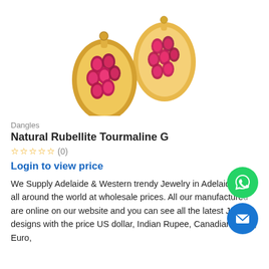[Figure (photo): Gold oval stud earrings with pink/magenta rubellite tourmaline gemstones set in gold prong settings, two earrings shown overlapping on white background]
Dangles
Natural Rubellite Tourmaline G
☆☆☆☆☆ (0)
Login to view price
We Supply Adelaide & Western trendy Jewelry in Adelaide and all around the world at wholesale prices. All our manufactured y are online on our website and you can see all the latest Jew designs with the price US dollar, Indian Rupee, Canadian dollar, Euro,